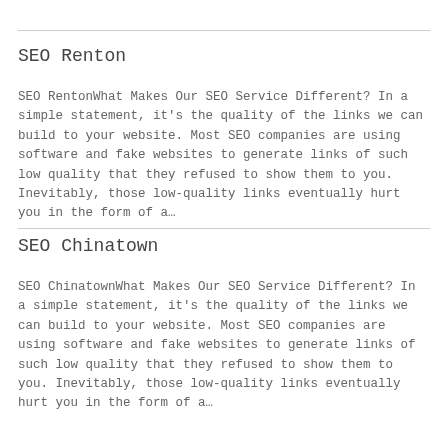SEO Renton
SEO RentonWhat Makes Our SEO Service Different? In a simple statement, it's the quality of the links we can build to your website. Most SEO companies are using software and fake websites to generate links of such low quality that they refused to show them to you. Inevitably, those low-quality links eventually hurt you in the form of a…
SEO Chinatown
SEO ChinatownWhat Makes Our SEO Service Different? In a simple statement, it's the quality of the links we can build to your website. Most SEO companies are using software and fake websites to generate links of such low quality that they refused to show them to you. Inevitably, those low-quality links eventually hurt you in the form of a…